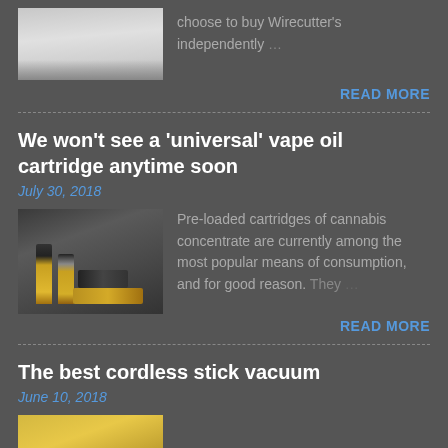[Figure (photo): Thumbnail image at the top, partially visible, appears to show a light-colored textured surface]
choose to buy Wirecutter's independently …
READ MORE
We won't see a 'universal' vape oil cartridge anytime soon
July 30, 2018
[Figure (photo): Vape oil cartridges and pens on a dark background with yellow/gold colored items]
Pre-loaded cartridges of cannabis concentrate are currently among the most popular means of consumption, and for good reason. They …
READ MORE
The best cordless stick vacuum
June 10, 2018
[Figure (photo): Partially visible thumbnail at bottom, appears golden/yellow colored]